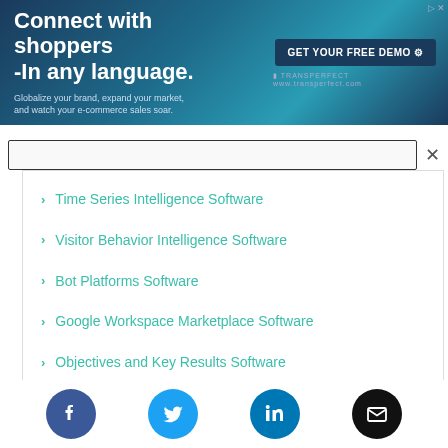[Figure (infographic): Advertisement banner with blue gradient background. Left side: bold white text 'Connect with shoppers -In any language.' with subtitle 'Globalize your brand, expand your market, and watch your e-commerce sales soar.' Right side: dark button 'GET YOUR FREE DEMO' with brand name.]
Time Series Intelligence Software
Visitor Behavior Intelligence Software
Bot Platforms Software
Google Workspace Marketplace Software
Objectives and Key Results Software
[Figure (infographic): Social media icon buttons: Facebook (blue circle with f icon), Twitter (light blue circle with bird icon), LinkedIn (blue circle with in icon), Email (black circle with envelope icon)]